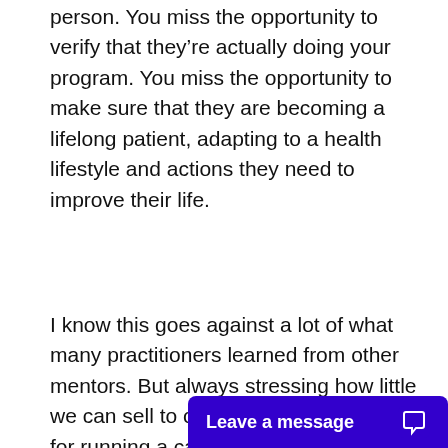person. You miss the opportunity to verify that they're actually doing your program. You miss the opportunity to make sure that they are becoming a lifelong patient, adapting to a health lifestyle and actions they need to improve their life.
I know this goes against a lot of what many practitioners learned from other mentors. But always stressing how little we can sell to our patients is important for running a cash practice.
I have surveyed there are two th
[Figure (other): Blue chat widget button with text 'Leave a message' and chat bubble icon on the right]